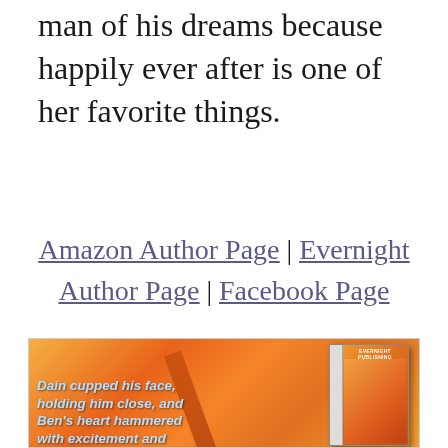man of his dreams because happily ever after is one of her favorite things.
Amazon Author Page | Evernight Author Page | Facebook Page
[Figure (illustration): Book promotional image with warm orange/fire background, a book cover visible on the right side (labeled Evernight Publishing), and italic blue text overlay reading: 'Dain cupped his face, holding him close, and Ben's heart hammered with excitement and']